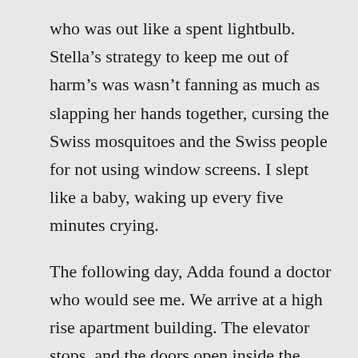who was out like a spent lightbulb. Stella's strategy to keep me out of harm's was wasn't fanning as much as slapping her hands together, cursing the Swiss mosquitoes and the Swiss people for not using window screens. I slept like a baby, waking up every five minutes crying.
The following day, Adda found a doctor who would see me. We arrive at a high rise apartment building. The elevator stops, and the doors open inside the doctor's apartment. Doctor Médecin is gorgeous, well-dressed, and fit. Couldn't fault him for not wearing a white coat.
“You sick?” he says in a sing-song accent where every sentence sounds like a question. “You don’t feel no good?” Much is wrong with this sentence, but the pain